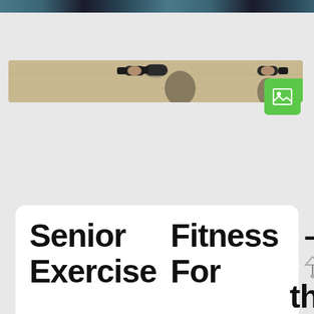[Figure (photo): Top strip of a fitness/gym scene, partially cropped]
[Figure (photo): Horizontal strip photo showing people holding dumbbells in a gym setting]
Senior Exercise Fitness For the